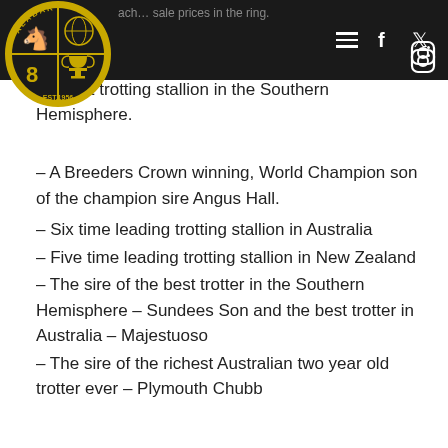ach... sale prices in the ring.
[Figure (logo): Alabar stud logo — circular emblem with horse head, globe, figure 8, trophy cup, and 'EST. 1956' text, gold and black coloring]
Th... t trotting stallion in the Southern Hemisphere.
– A Breeders Crown winning, World Champion son of the champion sire Angus Hall.
– Six time leading trotting stallion in Australia
– Five time leading trotting stallion in New Zealand
– The sire of the best trotter in the Southern Hemisphere – Sundees Son and the best trotter in Australia – Majestuoso
– The sire of the richest Australian two year old trotter ever – Plymouth Chubb